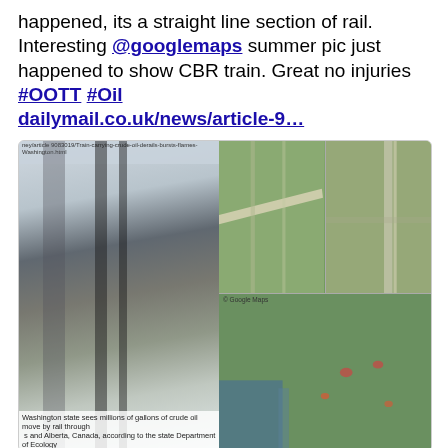happened, its a straight line section of rail. Interesting @googlemaps summer pic just happened to show CBR train. Great no injuries #OOTT #Oil dailymail.co.uk/news/article-9...
[Figure (photo): Left: aerial snowy view of a train derailment on a straight rail section with snow covered trees. Top-right: two satellite/aerial images showing the straight rail section from above in summer (Google Maps). Bottom-right: wider satellite view of the area showing terrain and water.]
12:37 PM · Dec 23, 2020
Reply  Copy link